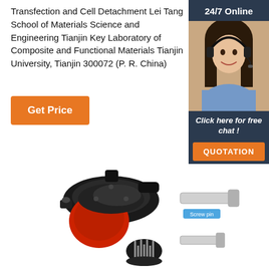Transfection and Cell Detachment Lei Tang School of Materials Science and Engineering Tianjin Key Laboratory of Composite and Functional Materials Tianjin University, Tianjin 300072 (P. R. China)
[Figure (other): Orange button labeled 'Get Price']
[Figure (infographic): Sidebar advertisement with '24/7 Online', a photo of a woman with a headset, text 'Click here for free chat!', and an orange 'QUOTATION' button]
[Figure (photo): Black industrial circular connector with red disc base and multiple metal pins, shown disassembled]
[Figure (other): Screw pin component illustration with label 'Screw pin']